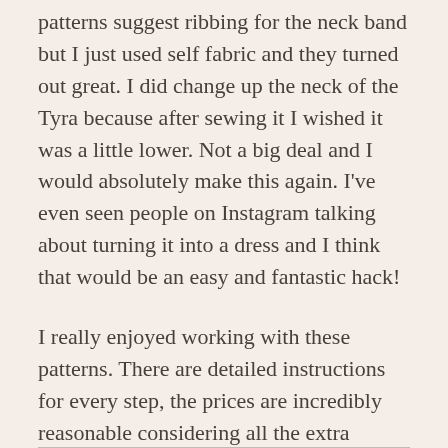patterns suggest ribbing for the neck band but I just used self fabric and they turned out great. I did change up the neck of the Tyra because after sewing it I wished it was a little lower. Not a big deal and I would absolutely make this again. I’ve even seen people on Instagram talking about turning it into a dress and I think that would be an easy and fantastic hack!
I really enjoyed working with these patterns. There are detailed instructions for every step, the prices are incredibly reasonable considering all the extra resources provided, and I love clothes that are simple and beautiful with wonderful extra details added in!